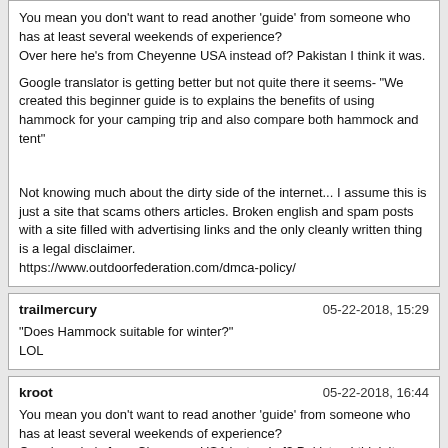You mean you don't want to read another 'guide' from someone who has at least several weekends of experience?
Over here he's from Cheyenne USA instead of? Pakistan I think it was.

Google translator is getting better but not quite there it seems- "We created this beginner guide is to explains the benefits of using hammock for your camping trip and also compare both hammock and tent"


Not knowing much about the dirty side of the internet... I assume this is just a site that scams others articles. Broken english and spam posts with a site filled with advertising links and the only cleanly written thing is a legal disclaimer.
https://www.outdoorfederation.com/dmca-policy/
trailmercury | 05-22-2018, 15:29
"Does Hammock suitable for winter?"
LOL
kroot | 05-22-2018, 16:44
You mean you don't want to read another 'guide' from someone who has at least several weekends of experience?
Over here he's from Cheyenne USA instead of? Pakistan I think it was.

Google translator is getting better but not quite there it seems- "We created this beginner guide is to explains the benefits of using hammock for your camping trip and also compare both hammock and tent"


Not knowing much about the dirty side of the internet... I assume this is just a site that scams others articles. Broken english and spam posts with a site filled with advertising links and the only cleanly written thing is a legal disclaimer.
https://www.outdoorfederation.com/dmca-policy/